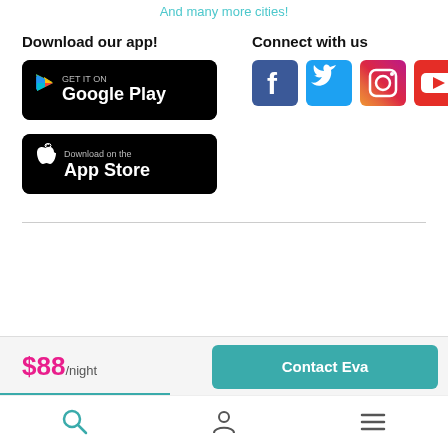And many more cities!
Download our app!
[Figure (logo): Google Play store download badge - black rounded rectangle with GET IT ON Google Play text and colorful play icon]
[Figure (logo): Apple App Store download badge - black rounded rectangle with Download on the App Store text and Apple logo]
Connect with us
[Figure (logo): Social media icons: Facebook (blue square with f), Twitter (blue bird icon), Instagram (gradient camera icon), YouTube (red play button icon)]
$88/night
Contact Eva